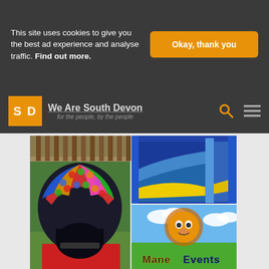This site uses cookies to give you the best ad experience and analyse traffic. Find out more.
Okay, thank you
We Are South Devon — for the people, by the people
[Figure (photo): Mane Events advertisement showing inflatable bounce castle (disco dome), inflatable water slide, Mane Events logo on grass background, and website www.mane-events.co.uk with Facebook link]
[Figure (infographic): Follow on Facebook for updates banner with palm tree icons and Facebook logo square]